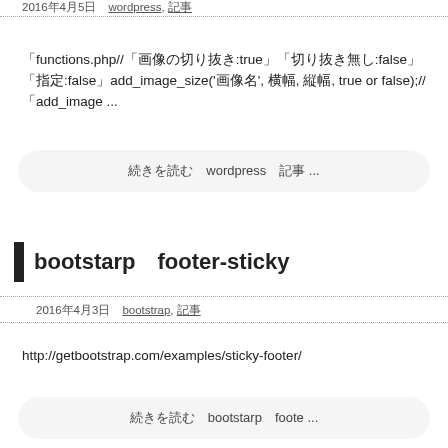2016年4月5日　wordpress, 記事
「functions.php//「画像の切り抜き:true」「切り抜き無し:false」「指定:false」add_image_size('画像名', 横幅, 縦幅, true or false);//「add_image ...
続きを読む　wordpress　記事 ...
bootstarp　footer-sticky
2016年4月3日　bootstrap, 記事
http://getbootstrap.com/examples/sticky-footer/
続きを読む　bootstarp　foote ...